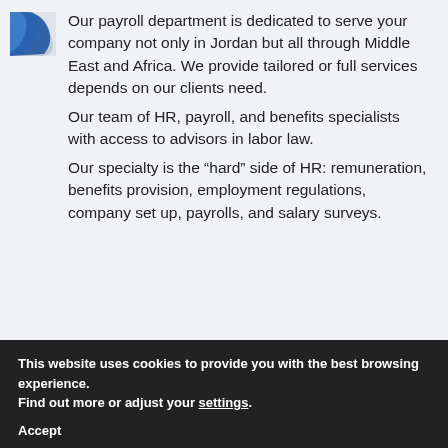[Figure (logo): Partial blue and white logo/icon visible in top-left corner]
Our payroll department is dedicated to serve your company not only in Jordan but all through Middle East and Africa. We provide tailored or full services depends on our clients need.
Our team of HR, payroll, and benefits specialists with access to advisors in labor law.
Our specialty is the "hard" side of HR: remuneration, benefits provision, employment regulations, company set up, payrolls, and salary surveys.
This website uses cookies to provide you with the best browsing experience.
Find out more or adjust your settings.
Accept